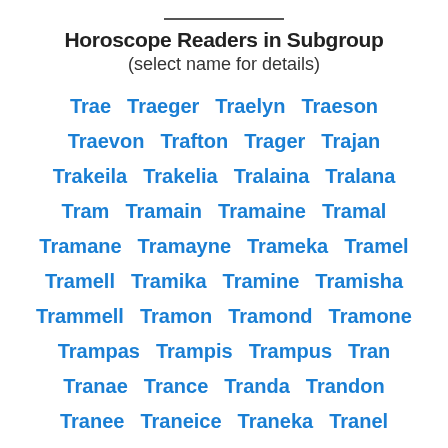Horoscope Readers in Subgroup
(select name for details)
Trae Traeger Traelyn Traeson Traevon Trafton Trager Trajan Trakeila Trakelia Tralaina Tralana Tram Tramain Tramaine Tramal Tramane Tramayne Trameka Tramel Tramell Tramika Tramine Tramisha Trammell Tramon Tramond Tramone Trampas Trampis Trampus Tran Tranae Trance Tranda Trandon Tranee Traneice Traneka Tranel Tranell Tranese Tranesha Trang Traniece Tranika Tranis Tranise Tranisha